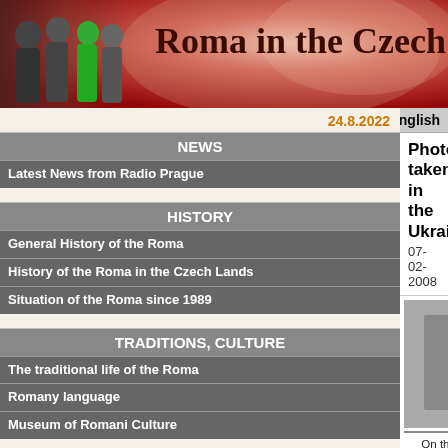Roma in the Czech
24.8.2022
NEWS
Latest News from Radio Prague
HISTORY
General History of the Roma
History of the Roma in the Czech Lands
Situation of the Roma since 1989
TRADITIONS, CULTURE
The traditional life of the Roma
Romany language
Museum of Romani Culture
PERSONALITIES
Česky   English
Photos taken in the Ukraine
07-02-2008
[Figure (photo): Photo placeholder - street scene in Jasina]
On the main street of Jasiña (Jasiña, Subcarpathian Rus, August 2004) Author Štěpán Hašek, Prague
[Figure (photo): Photo placeholder - Roma colony scene]
In a Roma colony. opportunity to acco missionary from Ky visit to a Roma co the fringe of Rachi several families we Roma children we us, gloryfying(?) a songs were sung, playing football on ground... (Rac Subcarpathian Ru 2007) Author Štěpán H Prague